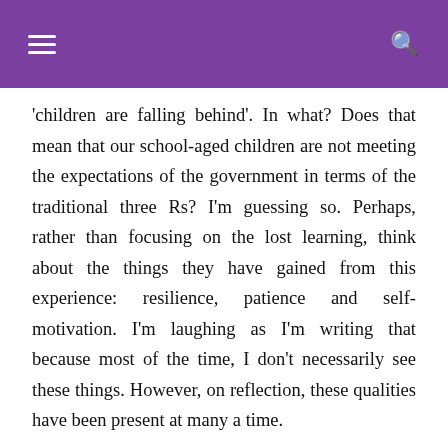'children are falling behind'. In what? Does that mean that our school-aged children are not meeting the expectations of the government in terms of the traditional three Rs? I'm guessing so. Perhaps, rather than focusing on the lost learning, think about the things they have gained from this experience: resilience, patience and self-motivation. I'm laughing as I'm writing that because most of the time, I don't necessarily see these things. However, on reflection, these qualities have been present at many a time.
A few further points to consider...